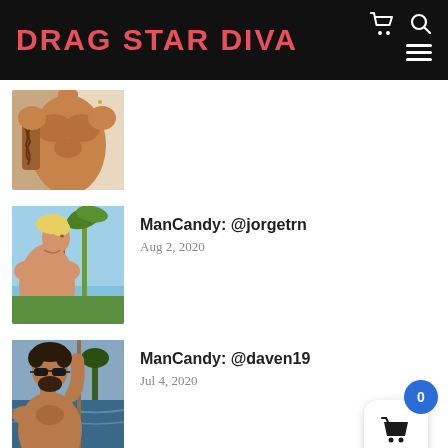DRAG STAR DIVA
[Figure (photo): Partial image of a muscular shirtless man with tattoos, cropped showing chest and arms]
[Figure (photo): Photo of a shirtless blond man with palm trees and sky in background, profile view]
ManCandy: @jorgetrn
Aug 2, 2020
[Figure (photo): Photo of a bearded man with sunglasses near water, holding a pole]
ManCandy: @daven19
Jul 4, 2020